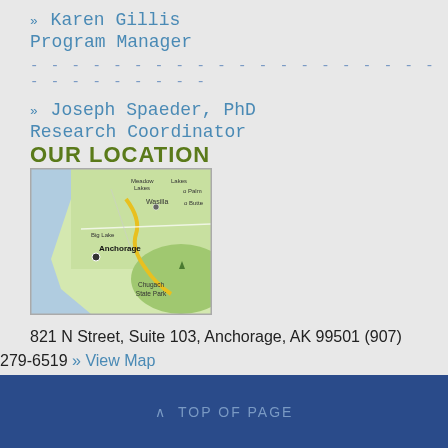» Karen Gillis
Program Manager
------------------------------
» Joseph Spaeder, PhD
Research Coordinator
OUR LOCATION
[Figure (map): Map showing Anchorage, Alaska area including Wasilla, Meadow Lakes, Big Lake, Chugach State Park with roads/highways highlighted]
821 N Street, Suite 103, Anchorage, AK 99501 (907) 279-6519 » View Map
TOP OF PAGE